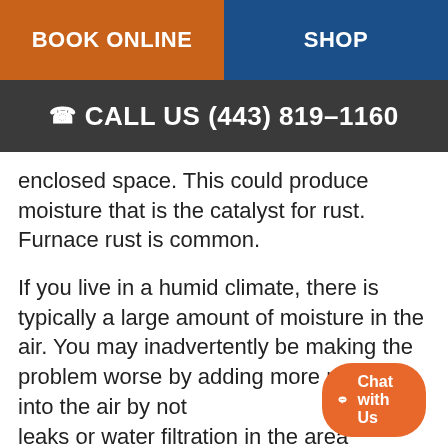BOOK ONLINE | SHOP
CALL US (443) 819-1160
enclosed space. This could produce moisture that is the catalyst for rust. Furnace rust is common.
If you live in a humid climate, there is typically a large amount of moisture in the air. You may inadvertently be making the problem worse by adding more moisture into the air by not water leaks or water filtration in the area
[Figure (other): Chat with Us button overlay in orange/coral color with chat bubble icon]